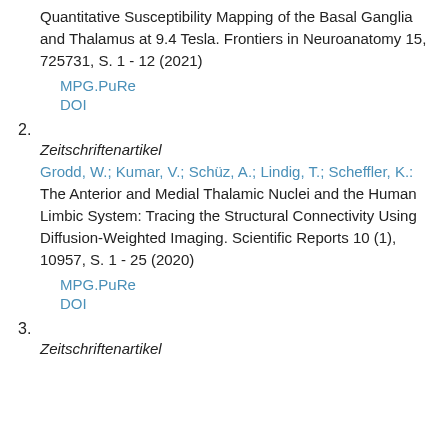Quantitative Susceptibility Mapping of the Basal Ganglia and Thalamus at 9.4 Tesla. Frontiers in Neuroanatomy 15, 725731, S. 1 - 12 (2021)
MPG.PuRe
DOI
2.
Zeitschriftenartikel
Grodd, W.; Kumar, V.; Schüz, A.; Lindig, T.; Scheffler, K.: The Anterior and Medial Thalamic Nuclei and the Human Limbic System: Tracing the Structural Connectivity Using Diffusion-Weighted Imaging. Scientific Reports 10 (1), 10957, S. 1 - 25 (2020)
MPG.PuRe
DOI
3.
Zeitschriftenartikel